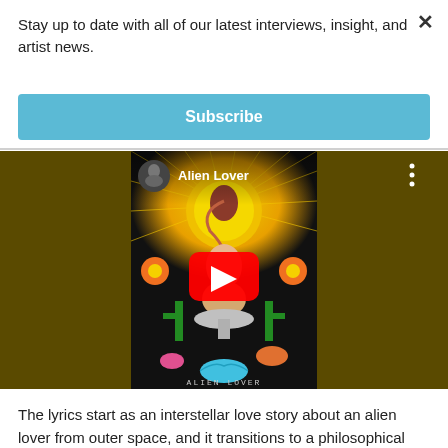Stay up to date with all of our latest interviews, insight, and artist news.
Subscribe
[Figure (screenshot): YouTube video embed showing 'Alien Lover' channel with psychedelic album art featuring a figure with a large sun/halo, flowers, and underwater elements. A red YouTube play button is overlaid in the center. The text 'ALIEN LOVER' appears at the bottom of the album art.]
The lyrics start as an interstellar love story about an alien lover from outer space, and it transitions to a philosophical